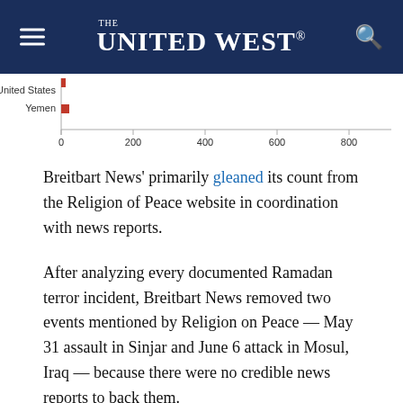THE UNITED WEST.
[Figure (bar-chart): Partial horizontal bar chart showing countries including United States and Yemen on y-axis, with x-axis values 0, 200, 400, 600, 800. Only bottom portion visible.]
Breitbart News' primarily gleaned its count from the Religion of Peace website in coordination with news reports.
After analyzing every documented Ramadan terror incident, Breitbart News removed two events mentioned by Religion on Peace — May 31 assault in Sinjar and June 6 attack in Mosul, Iraq — because there were no credible news reports to back them.
Moreover, two attacks that occurred on the last day of Ramadan were added to the tally after Breitbart News published the article noting that Islamic terrorists had killed